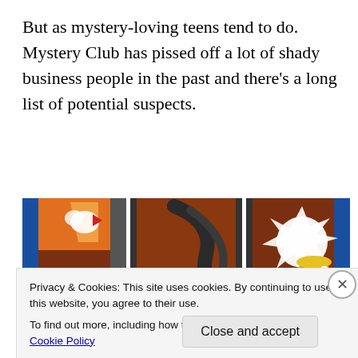But as mystery-loving teens tend to do. Mystery Club has pissed off a lot of shady business people in the past and there's a long list of potential suspects.
[Figure (illustration): A three-panel comic strip illustration showing cartoon action scenes on a brown brick background. Left panel: a character appears to be hit by something with a 'Pow!!' effect, a magnifying glass, and a sink/plunger visible. Middle panel: a large dark tangled rope or cord dominates the panel with a small gnome-like character at the bottom. Right panel: a white splat/explosion effect with cartoon characters and orange furniture on a green ground with blue accents.]
Privacy & Cookies: This site uses cookies. By continuing to use this website, you agree to their use.
To find out more, including how to control cookies, see here: Cookie Policy
Close and accept